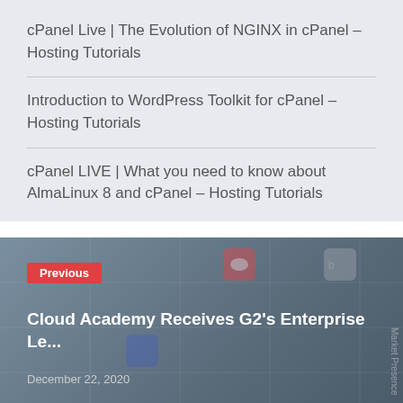cPanel Live | The Evolution of NGINX in cPanel – Hosting Tutorials
Introduction to WordPress Toolkit for cPanel – Hosting Tutorials
cPanel LIVE | What you need to know about AlmaLinux 8 and cPanel – Hosting Tutorials
[Figure (screenshot): Previous post thumbnail showing a G2 market presence grid chart with Cloud Academy label. Red 'Previous' badge in top-left corner. White text: 'Cloud Academy Receives G2's Enterprise Le...' and date 'December 22, 2020'.]
[Figure (photo): Next post thumbnail showing a person's face. Red 'Next' badge visible in bottom-left area.]